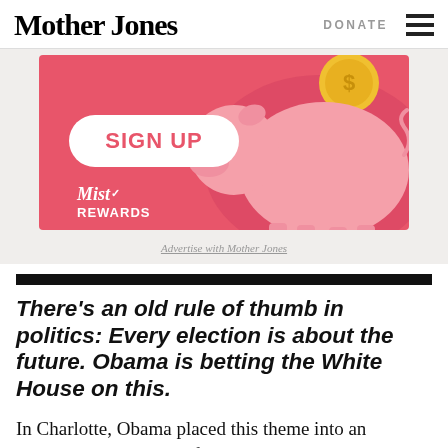Mother Jones   DONATE
[Figure (illustration): Mother Jones advertisement banner with pink background showing a piggy bank graphic and a 'SIGN UP' button with Mist Rewards branding]
Advertise with Mother Jones
There's an old rule of thumb in politics: Every election is about the future. Obama is betting the White House on this.
In Charlotte, Obama placed this theme into an electoral context. He referred to his